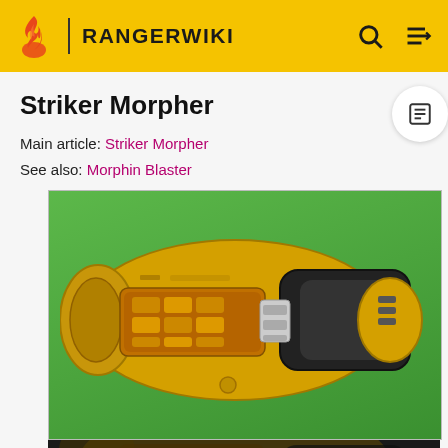RANGERWIKI
Striker Morpher
Main article: Striker Morpher
See also: Morphin Blaster
[Figure (photo): Striker Morpher device - yellow and black handheld morpher/blaster with keypad, photographed from above on a green background, with a reflection shown below on a dark surface.]